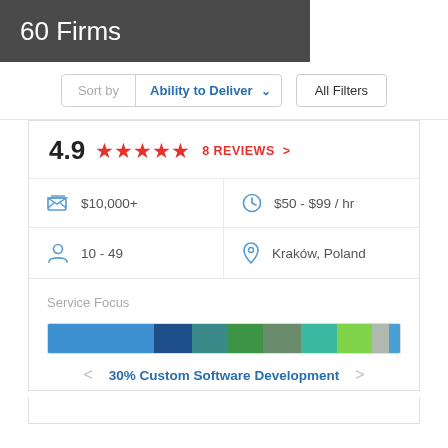60 Firms
Sort by  Ability to Deliver  ˅  All Filters
4.9  ★★★★★  8 REVIEWS  >
| Icon | Value | Icon | Value |
| --- | --- | --- | --- |
| [budget icon] | $10,000+ | [clock icon] | $50 - $99 / hr |
| [people icon] | 10 - 49 | [location icon] | Kraków, Poland |
Service Focus
[Figure (infographic): Horizontal segmented bar showing service focus breakdown with colored segments: blue (largest, ~30%), dark blue, teal, green, grey-green, teal-green, bright green, light grey, blue (small)]
< 30% Custom Software Development >